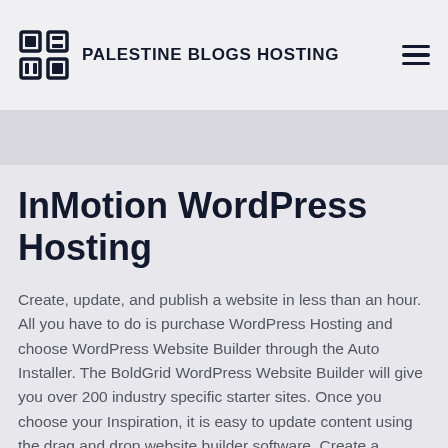PALESTINE BLOGS HOSTING
InMotion WordPress Hosting
Create, update, and publish a website in less than an hour. All you have to do is purchase WordPress Hosting and choose WordPress Website Builder through the Auto Installer. The BoldGrid WordPress Website Builder will give you over 200 industry specific starter sites. Once you choose your Inspiration, it is easy to update content using the drag and drop website builder software. Create a